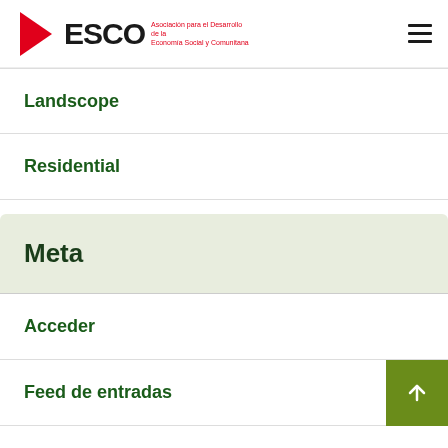[Figure (logo): DESCO logo with red arrow triangle and text: Asociación para el Desarrollo de la Economía Social y Comunitana]
Landscope
Residential
Meta
Acceder
Feed de entradas
Feed de comentarios